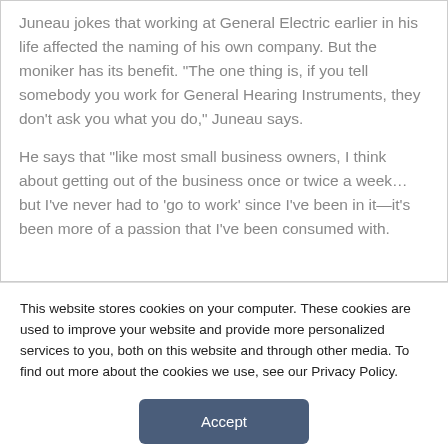Juneau jokes that working at General Electric earlier in his life affected the naming of his own company. But the moniker has its benefit. “The one thing is, if you tell somebody you work for General Hearing Instruments, they don’t ask you what you do,” Juneau says.
He says that “like most small business owners, I think about getting out of the business once or twice a week… but I’ve never had to ‘go to work’ since I’ve been in it—it’s been more of a passion that I’ve been consumed with.
This website stores cookies on your computer. These cookies are used to improve your website and provide more personalized services to you, both on this website and through other media. To find out more about the cookies we use, see our Privacy Policy.
Accept